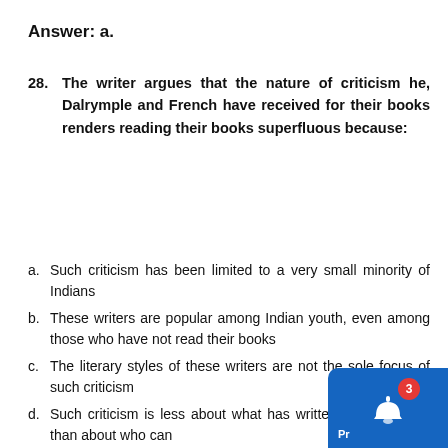Answer: a.
28. The writer argues that the nature of criticism he, Dalrymple and French have received for their books renders reading their books superfluous because:
a. Such criticism has been limited to a very small minority of Indians
b. These writers are popular among Indian youth, even among those who have not read their books
c. The literary styles of these writers are not the sole focus of such criticism
d. Such criticism is less about what has written in their books than about who can